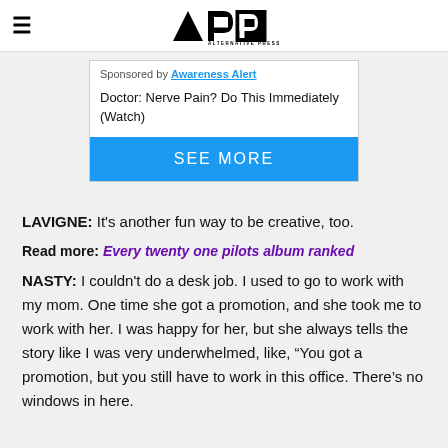Alternative Press
[Figure (other): Advertisement box: Sponsored by Awareness Alert. Doctor: Nerve Pain? Do This Immediately (Watch). SEE MORE button.]
LAVIGNE: It's another fun way to be creative, too.
Read more: Every twenty one pilots album ranked
NASTY: I couldn't do a desk job. I used to go to work with my mom. One time she got a promotion, and she took me to work with her. I was happy for her, but she always tells the story like I was very underwhelmed, like, "You got a promotion, but you still have to work in this office. There's no windows in here.